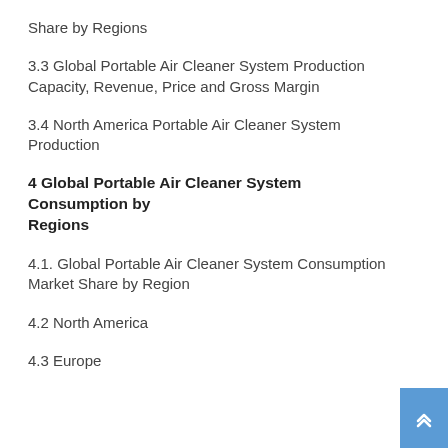Share by Regions
3.3 Global Portable Air Cleaner System Production Capacity, Revenue, Price and Gross Margin
3.4 North America Portable Air Cleaner System Production
4 Global Portable Air Cleaner System Consumption by Regions
4.1. Global Portable Air Cleaner System Consumption Market Share by Region
4.2 North America
4.3 Europe